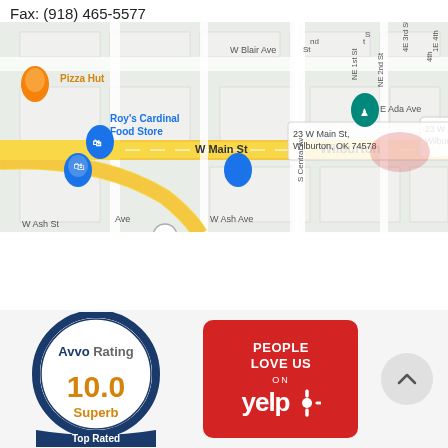Fax: (918) 465-5577
[Figure (map): Google Maps view of Wilburton, OK area showing W Main St, E Blair Ave, W Blair Ave, Roy's Cardinal Food Store, Pizza Hut, Wilburton Housing Authority, and surrounding streets with map pins]
[Figure (logo): Avvo Rating badge showing 10.0 Superb, Top Rated]
[Figure (logo): Yelp badge reading 'People Love Us On Yelp']